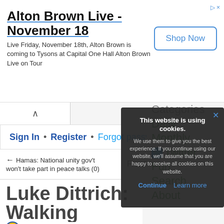Alton Brown Live - November 18
Live Friday, November 18th, Alton Brown is coming to Tysons at Capital One Hall Alton Brown Live on Tour
Shop Now
Sign In • Register • Forgot passv
← Hamas: National unity gov't won't take part in peace talks (0)
Front Page
Peter M
Categories
Daily
Monthly
Twitter
Fun
Search
About
Luke Dittrich: Walking Border
By jau
This website is using cookies. We use them to give you the best experience. If you continue using our website, we'll assume that you are happy to receive all cookies on this website. Continue Learn more